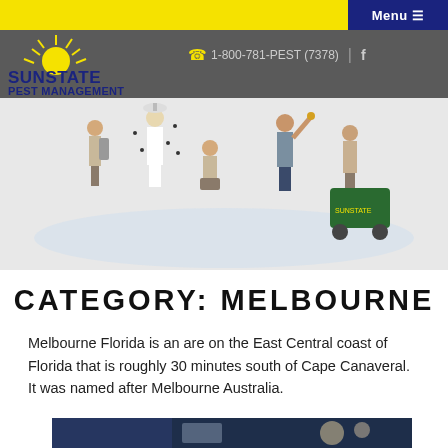Menu ☰
[Figure (logo): Sunstate Pest Management logo with sun graphic and yellow/navy text]
1-800-781-PEST (7378)
[Figure (photo): Five pest control workers in uniforms with equipment on light background]
CATEGORY: MELBOURNE
Melbourne Florida is an are on the East Central coast of Florida that is roughly 30 minutes south of Cape Canaveral. It was named after Melbourne Australia.
[Figure (photo): Partial preview of another image at bottom of page]